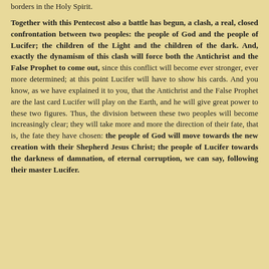borders in the Holy Spirit.
Together with this Pentecost also a battle has begun, a clash, a real, closed confrontation between two peoples: the people of God and the people of Lucifer; the children of the Light and the children of the dark. And, exactly the dynamism of this clash will force both the Antichrist and the False Prophet to come out, since this conflict will become ever stronger, ever more determined; at this point Lucifer will have to show his cards. And you know, as we have explained it to you, that the Antichrist and the False Prophet are the last card Lucifer will play on the Earth, and he will give great power to these two figures. Thus, the division between these two peoples will become increasingly clear; they will take more and more the direction of their fate, that is, the fate they have chosen: the people of God will move towards the new creation with their Shepherd Jesus Christ; the people of Lucifer towards the darkness of damnation, of eternal corruption, we can say, following their master Lucifer.